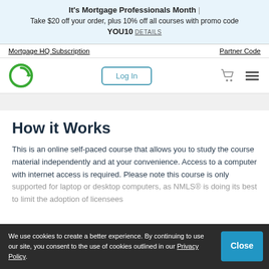It's Mortgage Professionals Month | Take $20 off your order, plus 10% off all courses with promo code YOU10 DETAILS
Mortgage HQ Subscription
Partner Code
[Figure (logo): Company logo — green circular arrow Q symbol]
Log In
How it Works
This is an online self-paced course that allows you to study the course material independently and at your convenience. Access to a computer with internet access is required. Please note this course is only supported for laptop or desktop computers, as NMLS® is doing its best to limit the adoption of licensees taking courses on mobile devices, such as cell phones or tablets.
We use cookies to create a better experience. By continuing to use our site, you consent to the use of cookies outlined in our Privacy Policy.